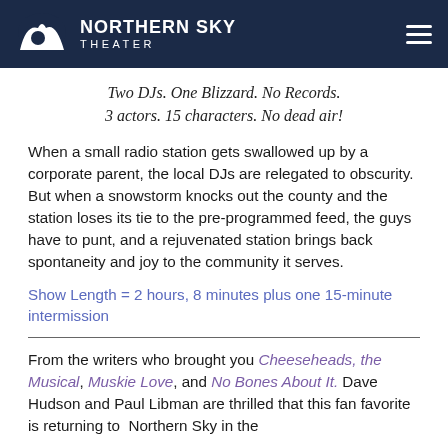NORTHERN SKY THEATER
Two DJs. One Blizzard. No Records.
3 actors. 15 characters. No dead air!
When a small radio station gets swallowed up by a corporate parent, the local DJs are relegated to obscurity. But when a snowstorm knocks out the county and the station loses its tie to the pre-programmed feed, the guys have to punt, and a rejuvenated station brings back spontaneity and joy to the community it serves.
Show Length = 2 hours, 8 minutes plus one 15-minute intermission
From the writers who brought you Cheeseheads, the Musical, Muskie Love, and No Bones About It. Dave Hudson and Paul Libman are thrilled that this fan favorite is returning to Northern Sky in the